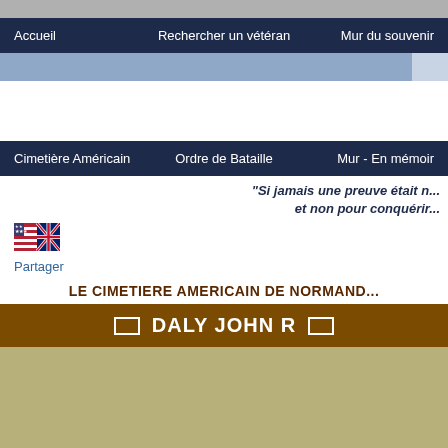Accueil   Rechercher un vétéran   Mur du souvenir
Cimetière Américain   Ordre de Bataille   Mur - En mémoir
"Si jamais une preuve était n... et non pour conquérir...
[Figure (illustration): Combined US and UK flags icon]
Partager
LE CIMETIERE AMERICAIN DE NORMAND...
DALY JOHN R